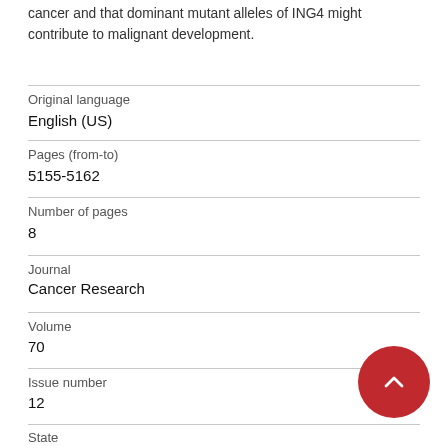cancer and that dominant mutant alleles of ING4 might contribute to malignant development.
| Field | Value |
| --- | --- |
| Original language | English (US) |
| Pages (from-to) | 5155-5162 |
| Number of pages | 8 |
| Journal | Cancer Research |
| Volume | 70 |
| Issue number | 12 |
| State |  |